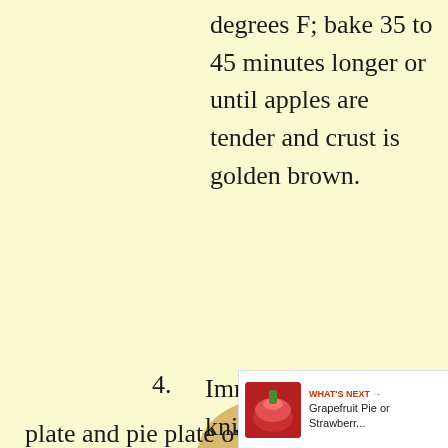degrees F; bake 35 to 45 minutes longer or until apples are tender and crust is golden brown.
[Figure (photo): A baked pie viewed from above, golden brown crust with crumble topping, sitting on a white plate.]
4. Immediately run knife around edge of pie to loosen. Place serving plate upside down over pie; turn serving plate and pie plate over plate and pie plate over